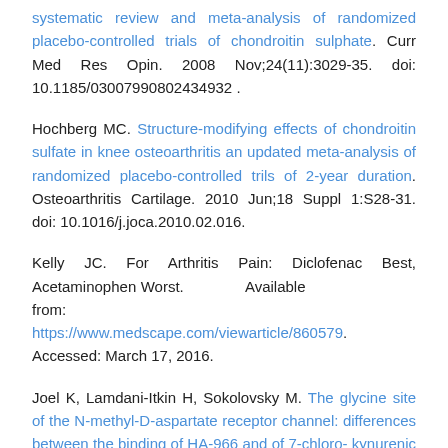systematic review and meta-analysis of randomized placebo-controlled trials of chondroitin sulphate. Curr Med Res Opin. 2008 Nov;24(11):3029-35. doi: 10.1185/03007990802434932 .
Hochberg MC. Structure-modifying effects of chondroitin sulfate in knee osteoarthritis an updated meta-analysis of randomized placebo-controlled trils of 2-year duration. Osteoarthritis Cartilage. 2010 Jun;18 Suppl 1:S28-31. doi: 10.1016/j.joca.2010.02.016.
Kelly JC. For Arthritis Pain: Diclofenac Best, Acetaminophen Worst. Available from: https://www.medscape.com/viewarticle/860579. Accessed: March 17, 2016.
Joel K, Lamdani-Itkin H, Sokolovsky M. The glycine site of the N-methyl-D-aspartate receptor channel: differences between the binding of HA-966 and of 7-chloro- kynurenic acid. J Neurochem. 1990 May;54(5):1576-83. PMID: 1691278.